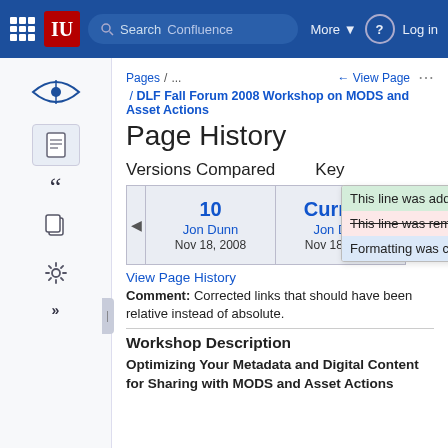IU Libraries Confluence | More | Log in
Pages / ...
View Page
/ DLF Fall Forum 2008 Workshop on MODS and Asset Actions
Page History
Versions Compared   Key
| Version | Author | Date |
| --- | --- | --- |
| 10 | Jon Dunn | Nov 18, 2008 |
| Current | Jon Du... | Nov 18, 2008 |
Key: This line was added. | This line was removed. | Formatting was changed.
View Page History
Comment: Corrected links that should have been relative instead of absolute.
Workshop Description
Optimizing Your Metadata and Digital Content for Sharing with MODS and Asset Actions